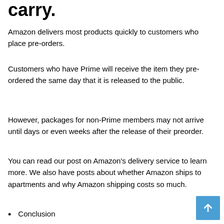carry.
Amazon delivers most products quickly to customers who place pre-orders.
Customers who have Prime will receive the item they pre-ordered the same day that it is released to the public.
However, packages for non-Prime members may not arrive until days or even weeks after the release of their preorder.
You can read our post on Amazon’s delivery service to learn more. We also have posts about whether Amazon ships to apartments and why Amazon shipping costs so much.
Conclusion